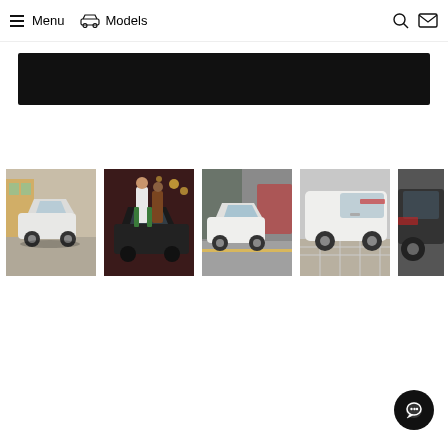Menu  Models
[Figure (photo): Black banner/hero image area]
[Figure (photo): Thumbnail 1: White Audi Q3 SUV parked on a street with storefront in background]
[Figure (photo): Thumbnail 2: Two people (woman in white dress with green pants, another in brown) standing in front of a dark Audi Q3 with festive lights]
[Figure (photo): Thumbnail 3: White Audi Q3 driving on a city street with blurred red bus in background]
[Figure (photo): Thumbnail 4: Close-up side/rear of white Audi SUV on patterned pavement]
[Figure (photo): Thumbnail 5 (partially visible): Close-up detail of dark Audi SUV front/side]